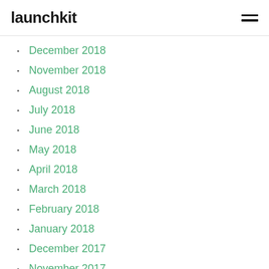launchkit
December 2018
November 2018
August 2018
July 2018
June 2018
May 2018
April 2018
March 2018
February 2018
January 2018
December 2017
November 2017